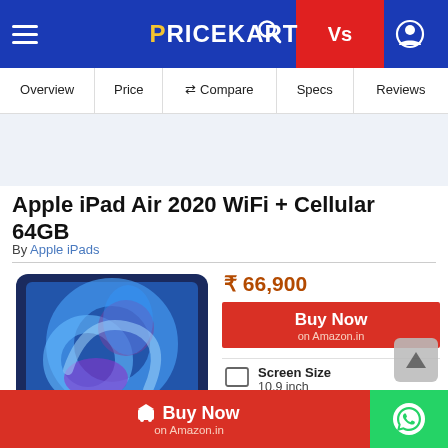PRICEKART — navigation bar with Overview, Price, Compare, Specs, Reviews
Apple iPad Air 2020 WiFi + Cellular 64GB
By Apple iPads
₹ 66,900
Buy Now on Amazon.in
Screen Size
10.9 inch
Camera
12 MP | 7 MP
Buy Now on Amazon.in